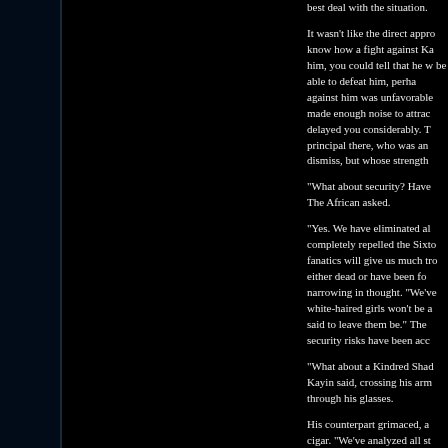best deal with the situation.
It wasn't like the direct appro know how a fight against Ka him, you could tell that he w be able to defeat him, perha against him was unfavorable made enough noise to attrac delayed you considerably. T principal there, who was an dismiss, but whose strength
“What about security? Have The African asked.
“Yes. We have eliminated al completely repelled the Sixto fanatics will give us much tro either dead or have been fo narrowing in thought. “We’ve white-haired girls won’t be a said to leave them be.” The security risks have been acc
“What about a Kindred Shad Kayin said, crossing his arm through his glasses.
His counterpart grimaced, a cigar. “We’ve analyzed all st